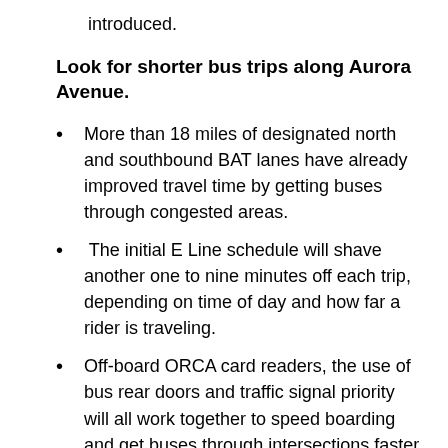introduced.
Look for shorter bus trips along Aurora Avenue.
More than 18 miles of designated north and southbound BAT lanes have already improved travel time by getting buses through congested areas.
The initial E Line schedule will shave another one to nine minutes off each trip, depending on time of day and how far a rider is traveling.
Off-board ORCA card readers, the use of bus rear doors and traffic signal priority will all work together to speed boarding and get buses through intersections faster – improvements that will